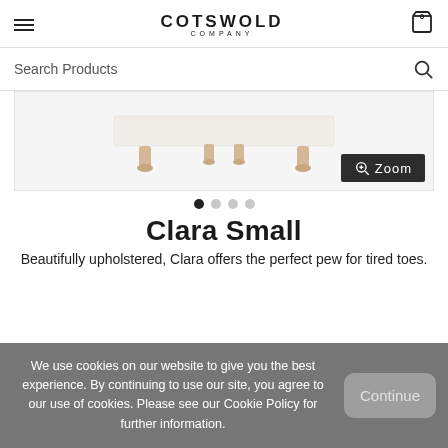COTSWOLD COMPANY
Search Products
[Figure (photo): Bottom portion of a white upholstered bench with turned wooden legs on a white background, with a dark Zoom button overlay]
● ○ ○ ○
Clara Small
Beautifully upholstered, Clara offers the perfect pew for tired toes.
We use cookies on our website to give you the best experience. By continuing to use our site, you agree to our use of cookies. Please see our Cookie Policy for further information.